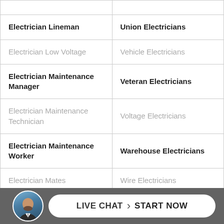| Electrician Lineman | Union Electricians |
| Electrician Low Voltage | Vehicle Electricians |
| Electrician Maintenance Manager | Veteran Electricians |
| Electrician Maintenance Technician | Voltage Electricians |
| Electrician Maintenance Worker | Warehouse Electricians |
| Electrician Mates | Wire Electricians |
| Electrician Military | Wire Installing Electricians |
| Electrician Navy Shipyard | Wire Insulation |
[Figure (infographic): Live chat bar with circular avatar photo of a bald bearded man in suit, and a white rounded button reading LIVE CHAT > START NOW]